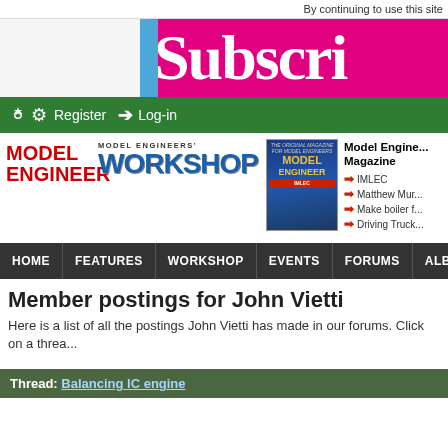By continuing to use this site
[Figure (illustration): Subscribe banner with magenta/pink background and partial white serif text reading 'Subscri...' with a blue left accent strip]
Register  Log-in
[Figure (logo): MODEL ENGINEER red logo, MODEL ENGINEERS' WORKSHOP blue logo, Model Engineer magazine cover thumbnail]
Model Engine... Magazine IMLEC Matthew Mur... Make boiler f... Driving Truck...
HOME  FEATURES  WORKSHOP  EVENTS  FORUMS  ALB
Member postings for John Vietti
Here is a list of all the postings John Vietti has made in our forums. Click on a threa...
Thread: Balancing IC engine